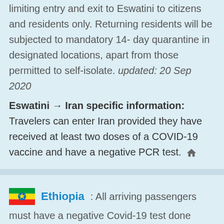limiting entry and exit to Eswatini to citizens and residents only. Returning residents will be subjected to mandatory 14- day quarantine in designated locations, apart from those permitted to self-isolate. updated: 20 Sep 2020
Eswatini → Iran specific information: Travelers can enter Iran provided they have received at least two doses of a COVID-19 vaccine and have a negative PCR test.
Ethiopia: All arriving passengers must have a negative Covid-19 test done within the last 72 hours and undergo medical checks and quarantine for 14 days at a